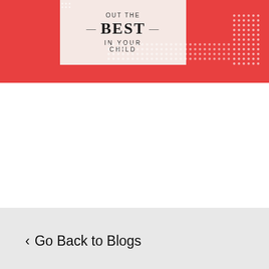[Figure (illustration): Red background promotional image with cream card showing text 'OUT THE BEST IN YOUR CHILD' with decorative dot patterns]
[Figure (infographic): Yellow/golden rounded button with text 'CLICK HERE & LEARN MORE! See the programs we offer']
[Figure (infographic): Facebook-style Like and Share blue buttons]
< Go Back to Blogs